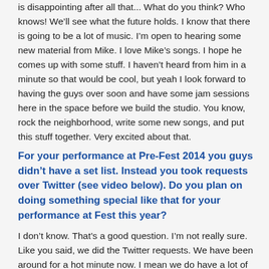is disappointing after all that... What do you think? Who knows! We'll see what the future holds. I know that there is going to be a lot of music. I'm open to hearing some new material from Mike. I love Mike's songs. I hope he comes up with some stuff. I haven't heard from him in a minute so that would be cool, but yeah I look forward to having the guys over soon and have some jam sessions here in the space before we build the studio. You know, rock the neighborhood, write some new songs, and put this stuff together. Very excited about that.
For your performance at Pre-Fest 2014 you guys didn't have a set list. Instead you took requests over Twitter (see video below). Do you plan on doing something special like that for your performance at Fest this year?
I don't know. That's a good question. I'm not really sure. Like you said, we did the Twitter requests. We have been around for a hot minute now. I mean we do have a lot of songs, but